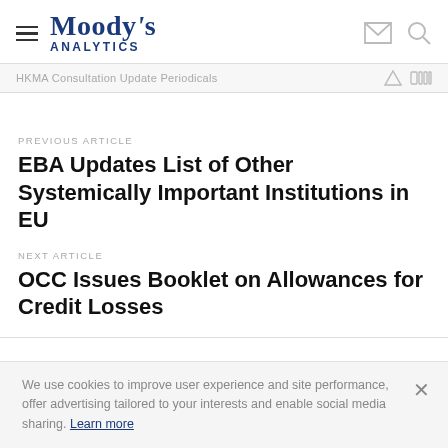Moody's Analytics
HKMA Consultation Update Periodicals
PREVIOUS ARTICLE
EBA Updates List of Other Systemically Important Institutions in EU
NEXT ARTICLE
OCC Issues Booklet on Allowances for Credit Losses
We use cookies to improve user experience and site performance, offer advertising tailored to your interests and enable social media sharing. Learn more